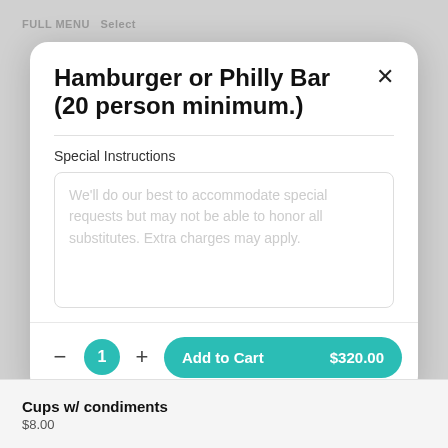FULL MENU Select
Hamburger or Philly Bar (20 person minimum.)
Special Instructions
We'll do our best to accommodate special requests but may not be able to honor all substitutes. Extra charges may apply.
1  Add to Cart  $320.00
Cups w/ condiments
$8.00